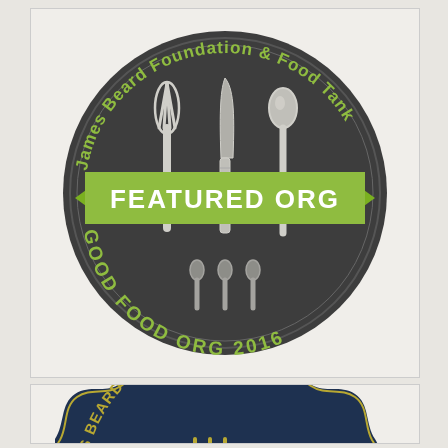[Figure (logo): James Beard Foundation & Food Tank circular badge/seal with fork, knife, spoon illustration in dark gray, green ribbon banner reading FEATURED ORG, and curved text GOOD FOOD ORG 2016]
[Figure (logo): James Beard Foundation & Food Tank dark navy scalloped badge with gold outline text ES BEARD FOUNDATION & FOOD visible, partial view with fork/spoon illustration]